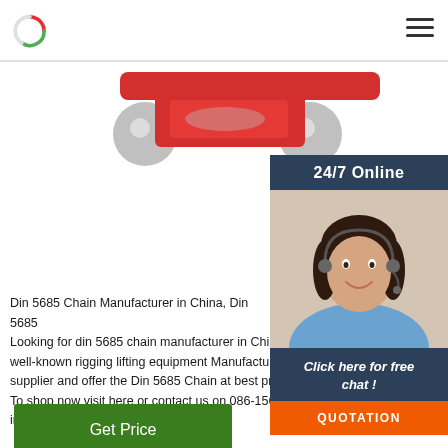[Figure (logo): Circular logo icon with red and green arc on white background]
[Figure (photo): Product photo of Din 5685 chain hardware with red and silver components on white background]
[Figure (photo): 24/7 Online customer service sidebar with photo of woman wearing headset, blue panel with 24/7 Online text, Click here for free chat label, and orange QUOTATION button]
Din 5685 Chain Manufacturer in China, Din 5685... Looking for din 5685 chain manufacturer in China... well-known rigging lifting equipment Manufacturer... supplier and offer the Din 5685 Chain at best pr... To shop now visit here or contact us on 086-156... inquire us at info@djs-indus.com now.
[Figure (other): Green Get Price button]
[Figure (other): Grey circular scroll-to-top arrow button]